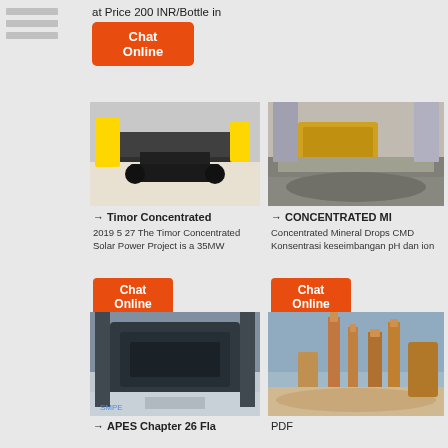[Figure (other): Navigation menu lines on top left]
at Price 200 INR/Bottle in
[Figure (other): Orange Chat Online button]
[Figure (photo): Industrial machine in a factory hall, front view]
→ Timor Concentrated
2019 5 27 The Timor Concentrated Solar Power Project is a 35MW
[Figure (other): Orange Chat Online button]
[Figure (photo): Stone crushing site with yellow equipment and gravel piles]
→ CONCENTRATED MI
Concentrated Mineral Drops CMD Konsentrasi keseimbangan pH dan ion
[Figure (other): Orange Chat Online button]
[Figure (photo): Large industrial machine in warehouse]
→ APES Chapter 26 Fla
[Figure (photo): Industrial cement or chemical plant exterior]
PDF